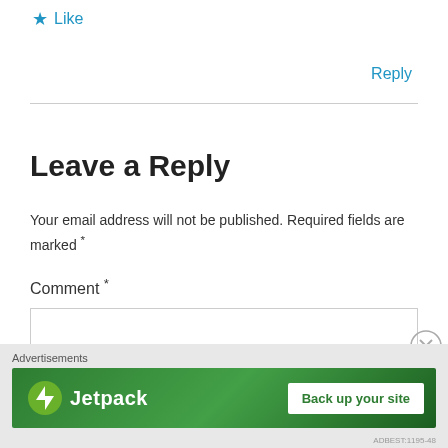★ Like
Reply
Leave a Reply
Your email address will not be published. Required fields are marked *
Comment *
[Figure (screenshot): Comment text input box with close (X) button overlay]
Advertisements
[Figure (infographic): Jetpack advertisement banner with logo and 'Back up your site' button on green background]